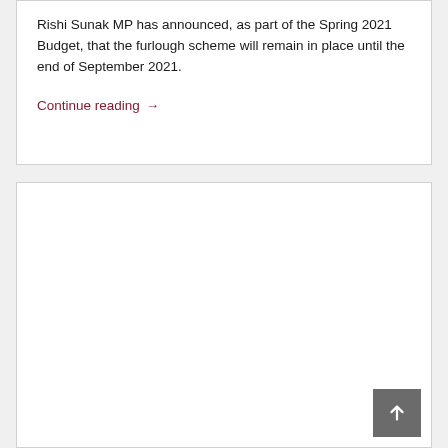Rishi Sunak MP has announced, as part of the Spring 2021 Budget, that the furlough scheme will remain in place until the end of September 2021.
Continue reading →